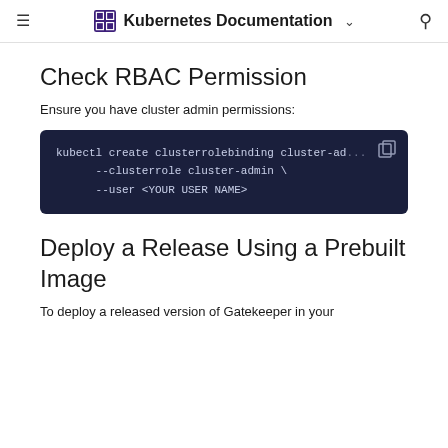Kubernetes Documentation
Check RBAC Permission
Ensure you have cluster admin permissions:
[Figure (screenshot): Code block showing kubectl command: kubectl create clusterrolebinding cluster-ad... --clusterrole cluster-admin \ --user <YOUR USER NAME>]
Deploy a Release Using a Prebuilt Image
To deploy a released version of Gatekeeper in your